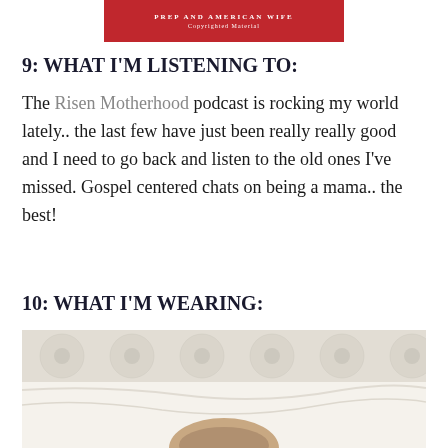[Figure (logo): Red banner with text PREP AND AMERICAN WIFE and Copyrighted Material]
9: WHAT I'M LISTENING TO:
The Risen Motherhood podcast is rocking my world lately.. the last few have just been really really good and I need to go back and listen to the old ones I've missed. Gospel centered chats on being a mama.. the best!
10: WHAT I'M WEARING:
[Figure (photo): Photo of person lying in white bedding with tufted headboard behind]